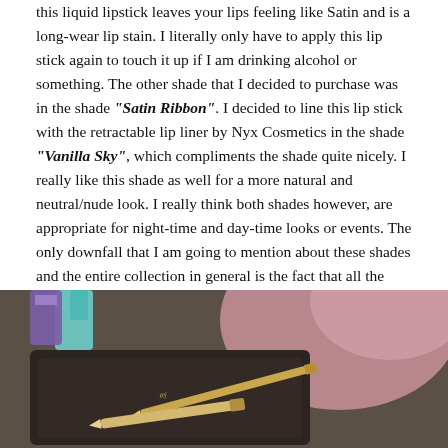this liquid lipstick leaves your lips feeling like Satin and is a long-wear lip stain. I literally only have to apply this lip stick again to touch it up if I am drinking alcohol or something. The other shade that I decided to purchase was in the shade "Satin Ribbon". I decided to line this lip stick with the retractable lip liner by Nyx Cosmetics in the shade "Vanilla Sky", which compliments the shade quite nicely. I really like this shade as well for a more natural and neutral/nude look. I really think both shades however, are appropriate for night-time and day-time looks or events. The only downfall that I am going to mention about these shades and the entire collection in general is the fact that all the shades are extremely similar in colour. I am probably going to purchase more of the shades and include a try on/demonstrate blog to show you beauts all the shades!
[Figure (photo): Photo of cosmetic lip products including lip liner and lipstick on a dark surface with pink background visible]